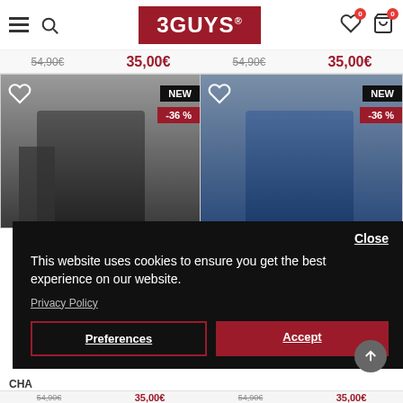[Figure (screenshot): 3GUYS e-commerce website header with hamburger menu, search icon, red 3GUYS logo, wishlist and cart icons with 0 badges]
54,90€  35,00€   54,90€  35,00€
[Figure (photo): Two product cards showing men's jeans - left: black jeans, right: dark blue distressed jeans. Both tagged NEW and -36%]
Close
This website uses cookies to ensure you get the best experience on our website.
Privacy Policy
Preferences
Accept
CHA
54,90€  35,00€   54,90€  35,00€